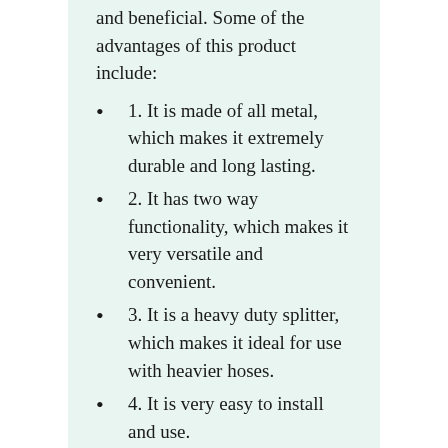and beneficial. Some of the advantages of this product include:
1. It is made of all metal, which makes it extremely durable and long lasting.
2. It has two way functionality, which makes it very versatile and convenient.
3. It is a heavy duty splitter, which makes it ideal for use with heavier hoses.
4. It is very easy to install and use.
5. It is extremely affordable, making it a great value for the money.
CONS
, lead-free
1. This product is not lead-free, which means